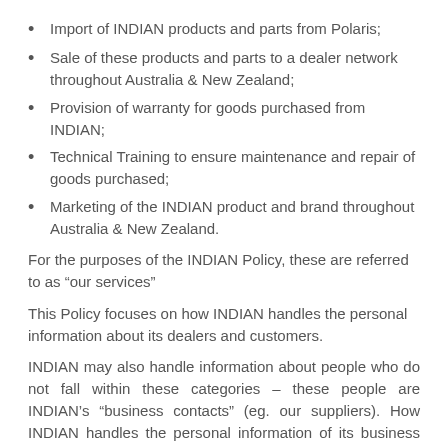Import of INDIAN products and parts from Polaris;
Sale of these products and parts to a dealer network throughout Australia & New Zealand;
Provision of warranty for goods purchased from INDIAN;
Technical Training to ensure maintenance and repair of goods purchased;
Marketing of the INDIAN product and brand throughout Australia & New Zealand.
For the purposes of the INDIAN Policy, these are referred to as “our services”
This Policy focuses on how INDIAN handles the personal information about its dealers and customers.
INDIAN may also handle information about people who do not fall within these categories – these people are INDIAN’s “business contacts” (eg. our suppliers). How INDIAN handles the personal information of its business contacts is discussed at section 7 below.
2. What personal information does INDIAN